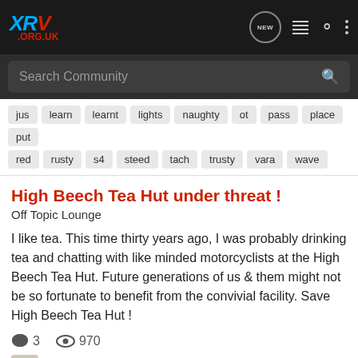XRV .ORG.UK
jus learn learnt lights naughty ot pass place put
red rusty s4 steed tach trusty vara wave
High Beech Tea Hut under threat !
Off Topic Lounge
I like tea. This time thirty years ago, I was probably drinking tea and chatting with like minded motorcyclists at the High Beech Tea Hut. Future generations of us & them might not be so fortunate to benefit from the convivial facility. Save High Beech Tea Hut !
3   970
©-© · Jun 15, 2014
aga etc beach benefit chat chatting efi era